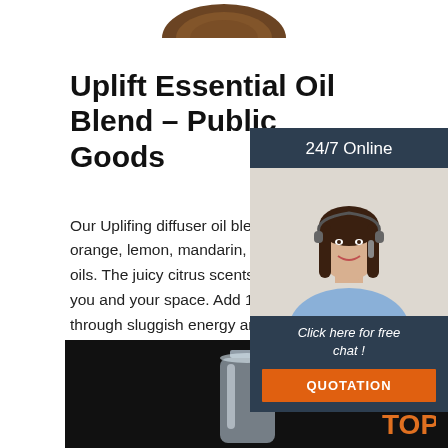[Figure (photo): Partial top view of a round diffuser or product, cropped at the top of the page]
Uplift Essential Oil Blend – Public Goods
Our Uplifing diffuser oil blend is an energizing co orange, lemon, mandarin, grapefruit, and bergan oils. The juicy citrus scents immediately brighten you and your space. Add 10-15 drops to your dif through sluggish energy and invite radiance. Wh
[Figure (photo): Customer service widget showing a woman with headset, '24/7 Online' header, 'Click here for free chat!' text, and QUOTATION orange button]
[Figure (photo): Bottom product photo on dark background showing a glass bottle, with TOP logo in orange]
Get Price